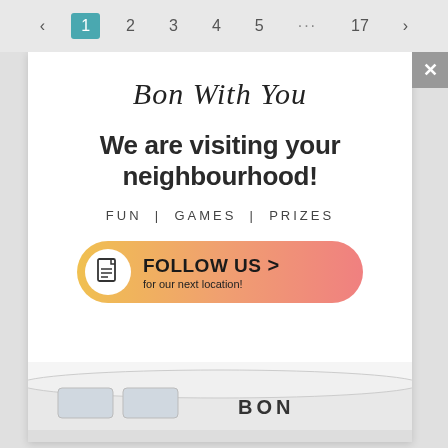< 1 2 3 4 5 ... 17 >
Bon With You
We are visiting your neighbourhood!
FUN | GAMES | PRIZES
[Figure (infographic): Orange-pink gradient button with document icon, bold text 'FOLLOW US >' and subtext 'for our next location!']
[Figure (photo): Partial view of a white vintage van/bus with 'BON' text visible, cropped at bottom of page]